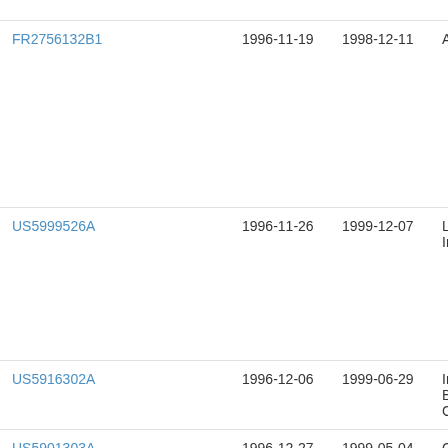| Patent Number | Filing Date | Publication Date | Assignee |
| --- | --- | --- | --- |
| FR2756132B1 | 1996-11-19 | 1998-12-11 | Als… |
| US5999526A | 1996-11-26 | 1999-12-07 | Luc… Inc… |
| US5916302A | 1996-12-06 | 1999-06-29 | Inte… Bus… Cor… |
| US5901303A | 1996-12-27 | 1999-05-04 | Ge… Inte… |
| US6148072A | 1997-01-03 | 2000-11-14 | Adv… |